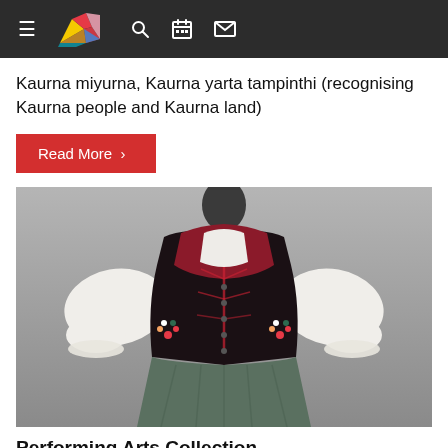Navigation bar with hamburger menu, logo, search, calendar, and envelope icons
Kaurna miyurna, Kaurna yarta tampinthi (recognising Kaurna people and Kaurna land)
Read More >
[Figure (photo): A traditional dirndl costume displayed on a mannequin. The outfit features a white puff-sleeved blouse, a dark maroon/black corset-style bodice with floral embroidery and lace-up detail, and a green skirt. The background is grey.]
Performing Arts Collection